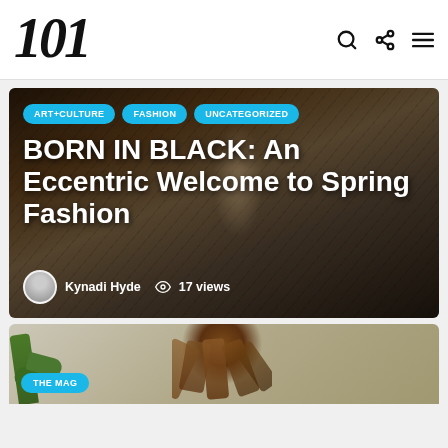101
[Figure (photo): Hero image of a fashion model on a staircase, dark moody tones, with article title overlay. Tags: ART+CULTURE, FASHION, UNCATEGORIZED. Title: BORN IN BLACK: An Eccentric Welcome to Spring Fashion. Author: Kynadi Hyde, 17 views.]
[Figure (photo): Partial image of a person with dreadlocks, plant visible on the left side. Tag: THE MAG.]